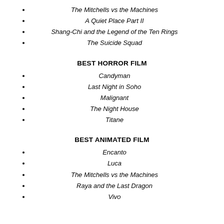The Mitchells vs the Machines
A Quiet Place Part II
Shang-Chi and the Legend of the Ten Rings
The Suicide Squad
BEST HORROR FILM
Candyman
Last Night in Soho
Malignant
The Night House
Titane
BEST ANIMATED FILM
Encanto
Luca
The Mitchells vs the Machines
Raya and the Last Dragon
Vivo